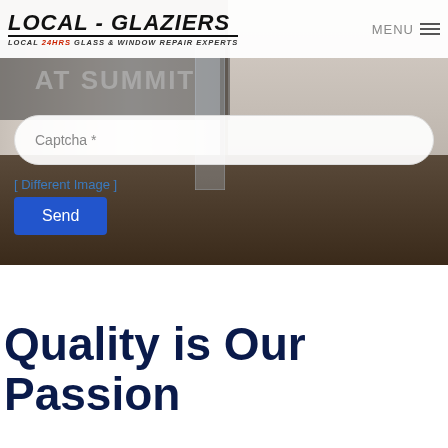LOCAL - GLAZIERS | LOCAL 24HRS GLASS & WINDOW REPAIR EXPERTS | MENU
[Figure (screenshot): Background hero image showing a white door with glass panel and wood floor, partially overlaid with a dark watermark/logo text. Beige/tan wall visible on right side.]
Captcha *
[ Different Image ]
Send
Quality is Our Passion